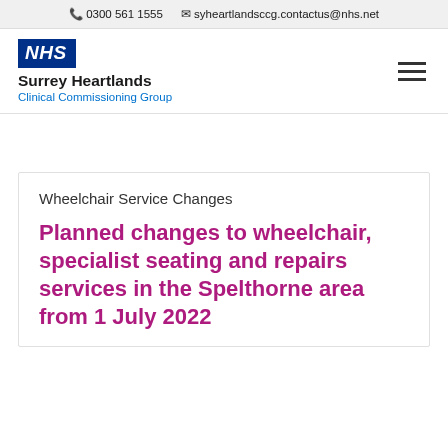0300 561 1555  syheartlandsccg.contactus@nhs.net
[Figure (logo): NHS Surrey Heartlands Clinical Commissioning Group logo with NHS blue square logo and organization name]
Wheelchair Service Changes
Planned changes to wheelchair, specialist seating and repairs services in the Spelthorne area from 1 July 2022